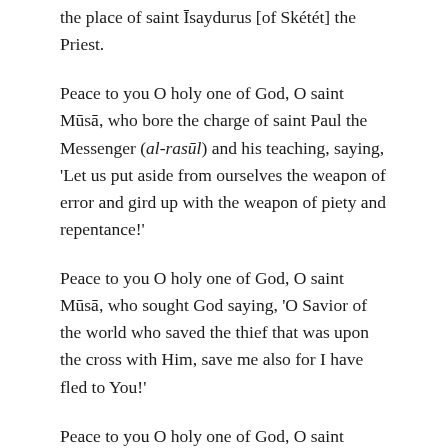the place of saint Īsaydurus [of Skétét] the Priest.
Peace to you O holy one of God, O saint Mūsā, who bore the charge of saint Paul the Messenger (al-rasūl) and his teaching, saying, 'Let us put aside from ourselves the weapon of error and gird up with the weapon of piety and repentance!'
Peace to you O holy one of God, O saint Mūsā, who sought God saying, 'O Savior of the world who saved the thief that was upon the cross with Him, save me also for I have fled to You!'
Peace to you O holy one of God, O saint Mūsā,